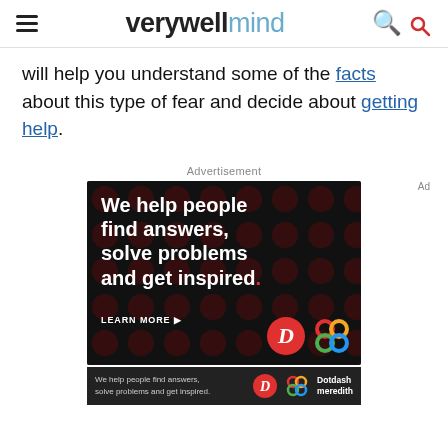verywellmind
will help you understand some of the facts about this type of fear and decide about getting help.
Advertisement
[Figure (illustration): Dotdash Meredith advertisement: black background with dark red dot pattern, white bold text reading 'We help people find answers, solve problems and get inspired.' with a red period. 'LEARN MORE' with arrow. Dotdash (D) logo in red circle and Meredith colorful knot logo shown bottom right.]
[Figure (illustration): Bottom ad strip: dark background with smaller version of Dotdash Meredith ad text and logos with 'Dotdash meredith' branding text.]